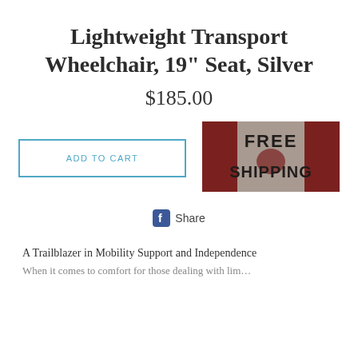Lightweight Transport Wheelchair, 19" Seat, Silver
$185.00
ADD TO CART
[Figure (photo): Free Shipping promotional image with Canadian flag background and bold text reading FREE SHIPPING]
Share
A Trailblazer in Mobility Support and Independence